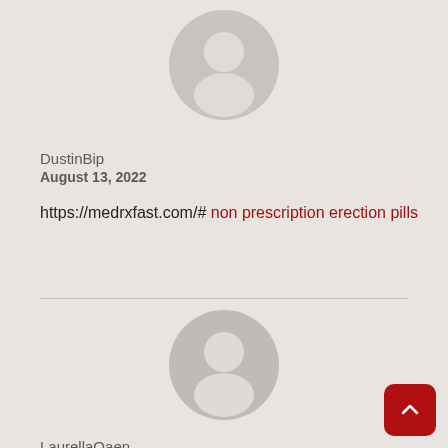[Figure (illustration): Generic user avatar silhouette circle for DustinBip]
DustinBip
August 13, 2022
https://medrxfast.com/# non prescription erection pills
[Figure (illustration): Generic user avatar silhouette circle for LaurellaOaen]
LaurellaOaen
August 13, 2022